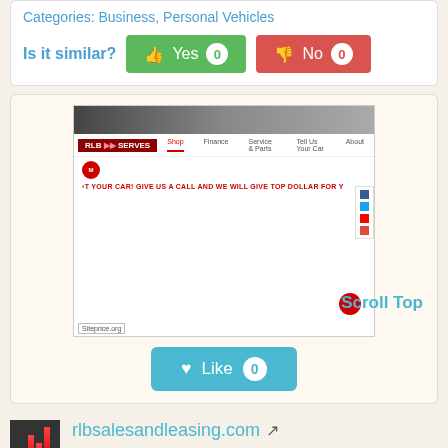Categories: Business, Personal Vehicles
Is it similar? Yes 0  No 0
[Figure (screenshot): Screenshot of rlbsalesandleasing.com website showing car dealership page with red logo, navigation bar, Mazda logo, promotional text 'T YOUR CAR! GIVE US A CALL AND WE WILL GIVE TOP DOLLAR FOR Y', social icons on the right, Siteprice.org watermark, and a red circle button. 'Scroll Top' link visible.]
Like 0
rlbsalesandleasing.com
rlb sales and leasing | auto dealership in ft. worth
rlb sales and leasing, ft. worth car dealership offers